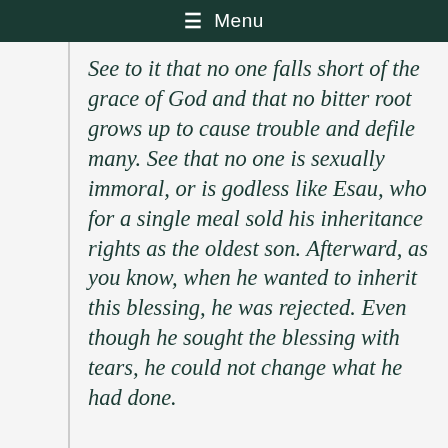≡ Menu
See to it that no one falls short of the grace of God and that no bitter root grows up to cause trouble and defile many. See that no one is sexually immoral, or is godless like Esau, who for a single meal sold his inheritance rights as the oldest son. Afterward, as you know, when he wanted to inherit this blessing, he was rejected. Even though he sought the blessing with tears, he could not change what he had done.